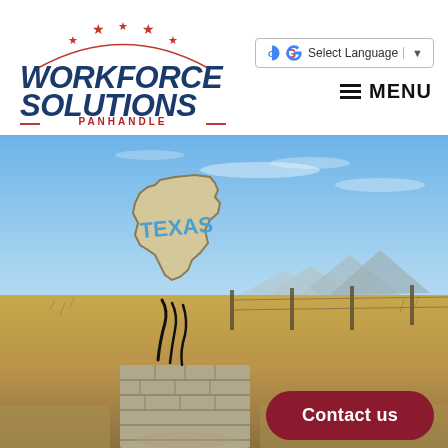Select Language | MENU
[Figure (logo): Workforce Solutions Panhandle logo with stars arc and red/blue text]
[Figure (photo): Outdoor photo of a stone monument shaped like the state of Texas with 'TEXAS' written in blue paint, set against a flat prairie landscape with mountains in the distance and blue sky. A wire fence is visible in the background.]
Contact us